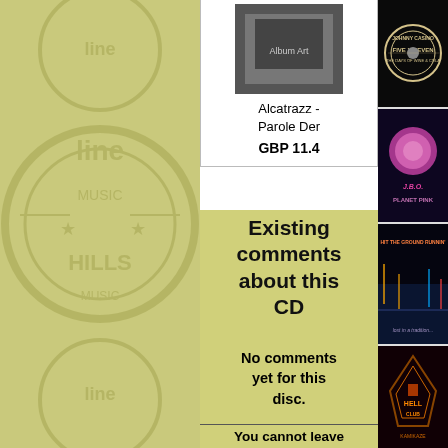[Figure (illustration): Left background with faded circular music/band logo watermark on olive-green background]
[Figure (photo): Album cover thumbnail for Alcatrazz - Parole Der]
Alcatrazz - Parole Der
GBP 11.4
Existing comments about this CD
No comments yet for this disc.
You cannot leave
[Figure (photo): Johnny Casino - Five X Seven album cover (black and white circular logo)]
[Figure (photo): J.B.O. - Planet Pink album cover (pink moon on dark background)]
[Figure (photo): Hit The Ground Runnin' - Lost in a Tradition album cover (neon city street)]
[Figure (photo): Hell Club - Kamikaze album cover (geometric/dark art)]